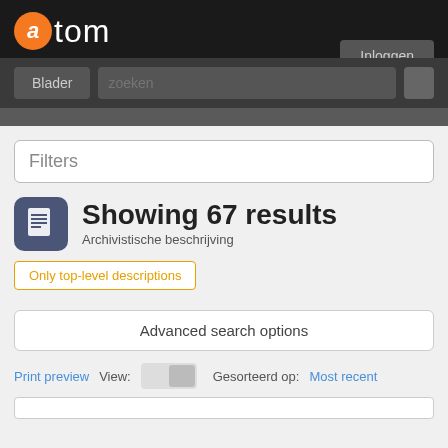atom
Inloggen
Blader  zoeken
Filters
Showing 67 results
Archivistische beschrijving
Only top-level descriptions
Advanced search options
Print preview  View:  Gesorteerd op:  Most recent